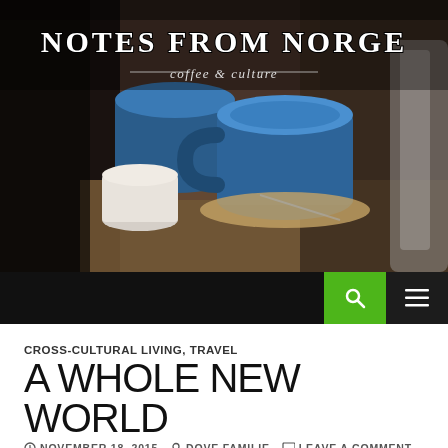[Figure (photo): Blog header image showing blue ceramic coffee cups on a dark background, with the blog title 'NOTES FROM NORGE' and tagline 'coffee & culture' overlaid in white text]
NOTES FROM NORGE
coffee & culture
CROSS-CULTURAL LIVING, TRAVEL
A WHOLE NEW WORLD
NOVEMBER 18, 2015   DOVE FAMILIE   LEAVE A COMMENT
We arrived in Atlanta Friday afternoon. Just in time for midtown traffic. Yeah, welcome ‘home’!